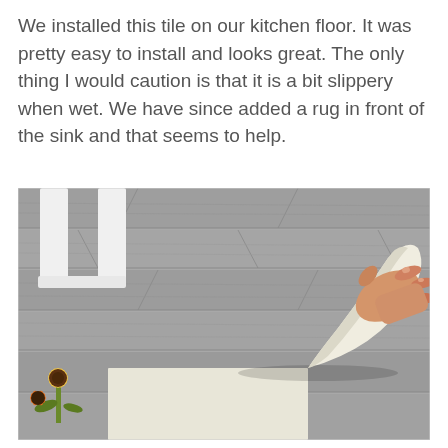We installed this tile on our kitchen floor. It was pretty easy to install and looks great. The only thing I would caution is that it is a bit slippery when wet. We have since added a rug in front of the sink and that seems to help.
[Figure (photo): A hand peeling back a flexible vinyl/peel-and-stick floor tile from a grey wood-look floor. A white table leg is visible in the upper left corner and yellow sunflowers are visible in the lower left corner.]